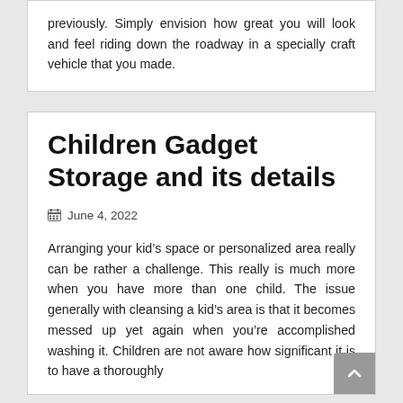previously. Simply envision how great you will look and feel riding down the roadway in a specially craft vehicle that you made.
Children Gadget Storage and its details
June 4, 2022
Arranging your kid's space or personalized area really can be rather a challenge. This really is much more when you have more than one child. The issue generally with cleansing a kid's area is that it becomes messed up yet again when you're accomplished washing it. Children are not aware how significant it is to have a thoroughly